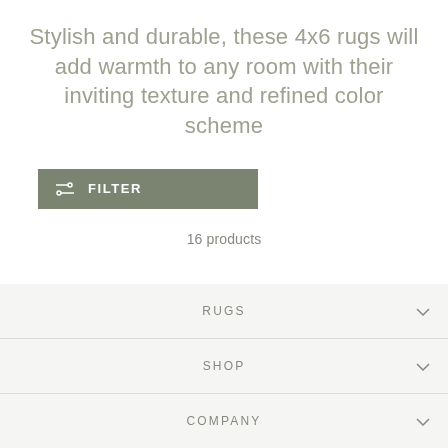Stylish and durable, these 4x6 rugs will add warmth to any room with their inviting texture and refined color scheme
FILTER
16 products
RUGS
SHOP
COMPANY